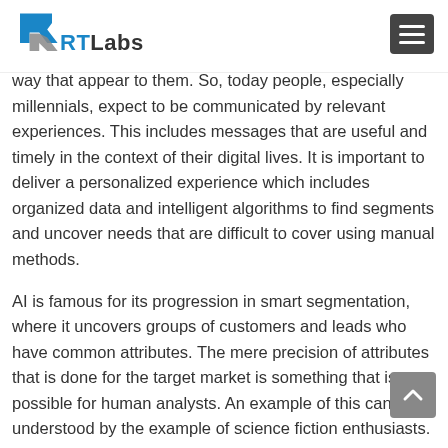RTLabs
way that appear to them. So, today people, especially millennials, expect to be communicated by relevant experiences. This includes messages that are useful and timely in the context of their digital lives. It is important to deliver a personalized experience which includes organized data and intelligent algorithms to find segments and uncover needs that are difficult to cover using manual methods.
AI is famous for its progression in smart segmentation, where it uncovers groups of customers and leads who have common attributes. The mere precision of attributes that is done for the target market is something that is not possible for human analysts. An example of this can be understood by the example of science fiction enthusiasts. Suppose there is a group of customers